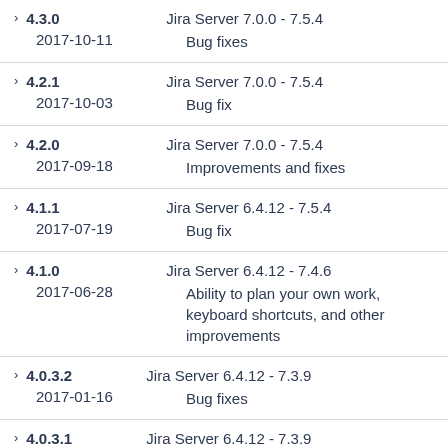4.3.0 | Jira Server 7.0.0 - 7.5.4 | 2017-10-11 | Bug fixes
4.2.1 | Jira Server 7.0.0 - 7.5.4 | 2017-10-03 | Bug fix
4.2.0 | Jira Server 7.0.0 - 7.5.4 | 2017-09-18 | Improvements and fixes
4.1.1 | Jira Server 6.4.12 - 7.5.4 | 2017-07-19 | Bug fix
4.1.0 | Jira Server 6.4.12 - 7.4.6 | 2017-06-28 | Ability to plan your own work, keyboard shortcuts, and other improvements
4.0.3.2 | Jira Server 6.4.12 - 7.3.9 | 2017-01-16 | Bug fixes
4.0.3.1 | Jira Server 6.4.12 - 7.3.9